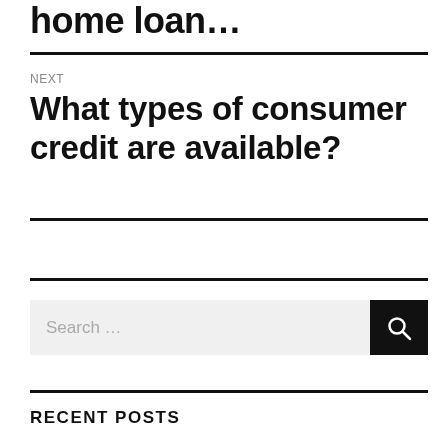home loan…
NEXT
What types of consumer credit are available?
Search …
RECENT POSTS